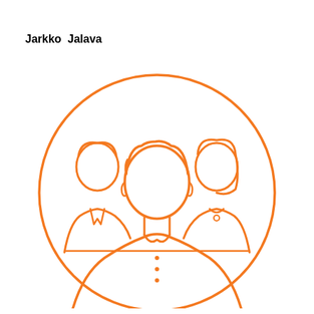Jarkko Jalava
[Figure (illustration): Orange line-art illustration of three people (team/group icon) inside a large orange circle. A central male figure faces forward, flanked by a male figure on the left and a female figure on the right, both slightly behind.]